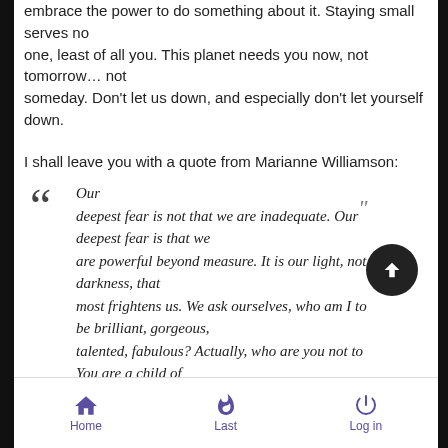embrace the power to do something about it. Staying small serves no one, least of all you. This planet needs you now, not tomorrow… not someday. Don't let us down, and especially don't let yourself down.
I shall leave you with a quote from Marianne Williamson:
"Our deepest fear is not that we are inadequate. Our deepest fear is that we are powerful beyond measure. It is our light, not our darkness, that most frightens us. We ask ourselves, who am I to be brilliant, gorgeous, talented, fabulous? Actually, who are you not to You are a child of
Home   Last   Log in